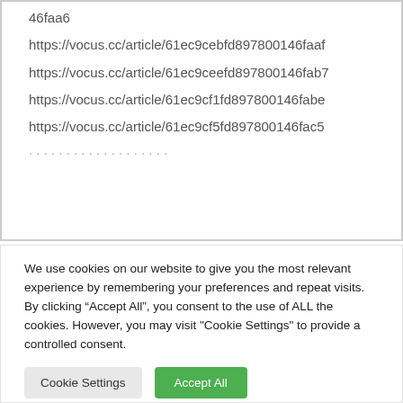46faa6
https://vocus.cc/article/61ec9cebfd897800146faaf
https://vocus.cc/article/61ec9ceefd897800146fab7
https://vocus.cc/article/61ec9cf1fd897800146fabe
https://vocus.cc/article/61ec9cf5fd897800146fac5
We use cookies on our website to give you the most relevant experience by remembering your preferences and repeat visits. By clicking “Accept All”, you consent to the use of ALL the cookies. However, you may visit "Cookie Settings" to provide a controlled consent.